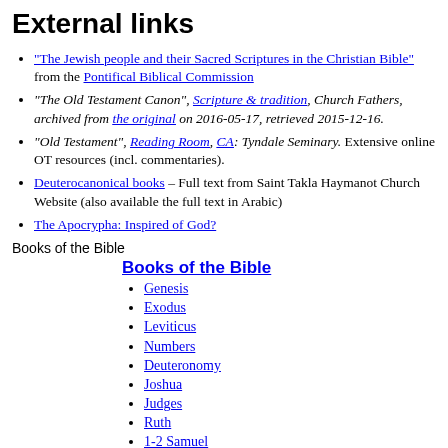External links
"The Jewish people and their Sacred Scriptures in the Christian Bible" from the Pontifical Biblical Commission
"The Old Testament Canon", Scripture & tradition, Church Fathers, archived from the original on 2016-05-17, retrieved 2015-12-16.
"Old Testament", Reading Room, CA: Tyndale Seminary. Extensive online OT resources (incl. commentaries).
Deuterocanonical books – Full text from Saint Takla Haymanot Church Website (also available the full text in Arabic)
The Apocrypha: Inspired of God?
Books of the Bible
Books of the Bible
Genesis
Exodus
Leviticus
Numbers
Deuteronomy
Joshua
Judges
Ruth
1-2 Samuel